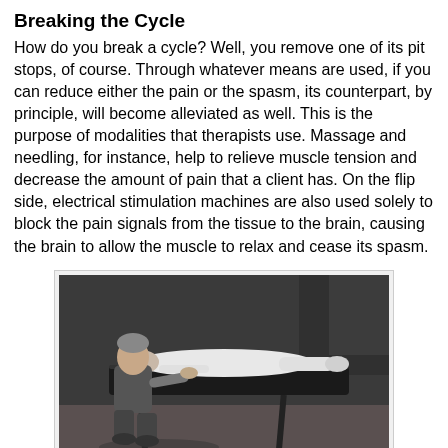Breaking the Cycle
How do you break a cycle? Well, you remove one of its pit stops, of course. Through whatever means are used, if you can reduce either the pain or the spasm, its counterpart, by principle, will become alleviated as well. This is the purpose of modalities that therapists use. Massage and needling, for instance, help to relieve muscle tension and decrease the amount of pain that a client has. On the flip side, electrical stimulation machines are also used solely to block the pain signals from the tissue to the brain, causing the brain to allow the muscle to relax and cease its spasm.
[Figure (photo): Black and white photograph of a male therapist kneeling beside a massage table, performing massage therapy on a patient lying on their back in a clinical setting.]